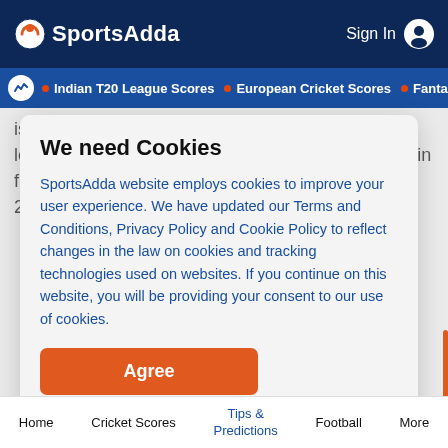SportsAdda  Sign In
Indian T20 League Scores • European Cricket Scores • Fantasy C
is the best option. The 32-year-old is currently the leading run-getter in the tournament with 181 runs in five innings at a whopping strike rate of 154. With 292 fantasy points already th
[Figure (screenshot): Cookie consent modal dialog with title 'We need Cookies', body text about SportsAdda cookies policy, and an orange 'Agree' button]
Home  Cricket Scores  Tips & Predictions  Football  More